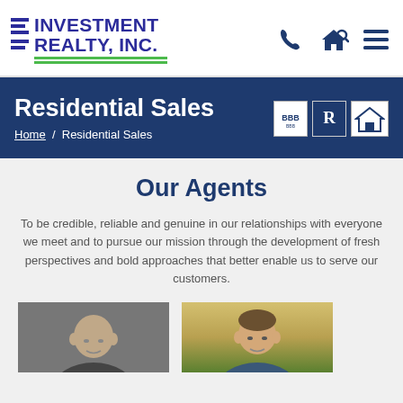[Figure (logo): Investment Realty, Inc. logo with blue horizontal stripes and text, green underlines]
[Figure (infographic): Navigation icons: phone, search/home, hamburger menu in dark blue]
Residential Sales
Home / Residential Sales
[Figure (logo): BBB, REALTOR, and Equal Housing Opportunity badges/logos]
Our Agents
To be credible, reliable and genuine in our relationships with everyone we meet and to pursue our mission through the development of fresh perspectives and bold approaches that better enable us to serve our customers.
[Figure (photo): Headshot photo of a bald male real estate agent against grey background]
[Figure (photo): Headshot photo of a male real estate agent in outdoor setting]